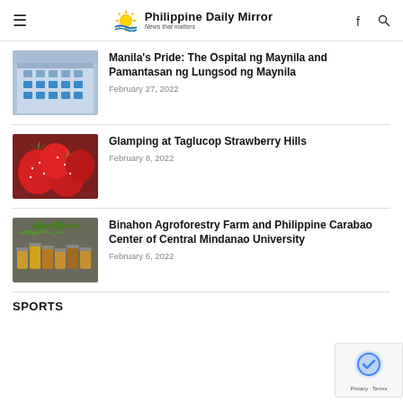Philippine Daily Mirror — News that matters
[Figure (photo): Building facade - Ospital ng Maynila / Pamantasan ng Lungsod ng Maynila]
Manila's Pride: The Ospital ng Maynila and Pamantasan ng Lungsod ng Maynila
February 27, 2022
[Figure (photo): Close-up of red strawberries]
Glamping at Taglucop Strawberry Hills
February 8, 2022
[Figure (photo): Farm products and vegetables displayed at Binahon Agroforestry Farm]
Binahon Agroforestry Farm and Philippine Carabao Center of Central Mindanao University
February 6, 2022
SPORTS